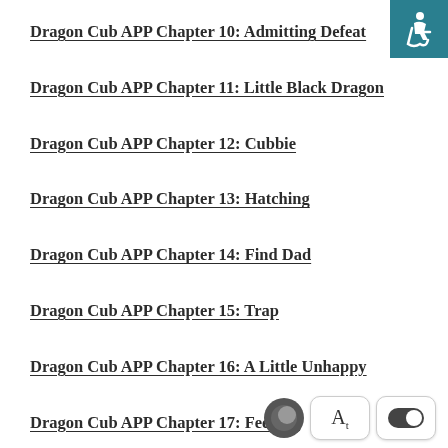Dragon Cub APP Chapter 10: Admitting Defeat
Dragon Cub APP Chapter 11: Little Black Dragon
Dragon Cub APP Chapter 12: Cubbie
Dragon Cub APP Chapter 13: Hatching
Dragon Cub APP Chapter 14: Find Dad
Dragon Cub APP Chapter 15: Trap
Dragon Cub APP Chapter 16: A Little Unhappy
Dragon Cub APP Chapter 17: Feeding
Dragon Cub APP Chapter 18: Dark Abyss Dragon